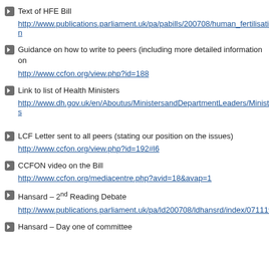Text of HFE Bill
http://www.publications.parliament.uk/pa/pabills/200708/human_fertilisatio...
Guidance on how to write to peers (including more detailed information on...
http://www.ccfon.org/view.php?id=188
Link to list of Health Ministers
http://www.dh.gov.uk/en/Aboutus/MinistersandDepartmentLeaders/Minister...
LCF Letter sent to all peers (stating our position on the issues)
http://www.ccfon.org/view.php?id=192#l6
CCFON video on the Bill
http://www.ccfon.org/mediacentre.php?avid=18&avap=1
Hansard – 2nd Reading Debate
http://www.publications.parliament.uk/pa/ld200708/ldhansrd/index/071119...
Hansard – Day one of committee...